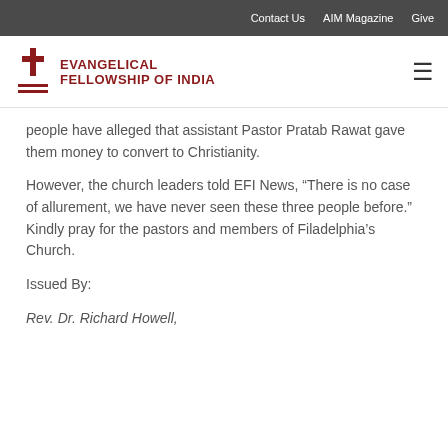Contact Us   AIM Magazine   Give
[Figure (logo): Evangelical Fellowship of India logo with cross icon and red text]
people have alleged that assistant Pastor Pratab Rawat gave them money to convert to Christianity.
However, the church leaders told EFI News, “There is no case of allurement, we have never seen these three people before.” Kindly pray for the pastors and members of Filadelphia’s Church.
Issued By:
Rev. Dr. Richard Howell,